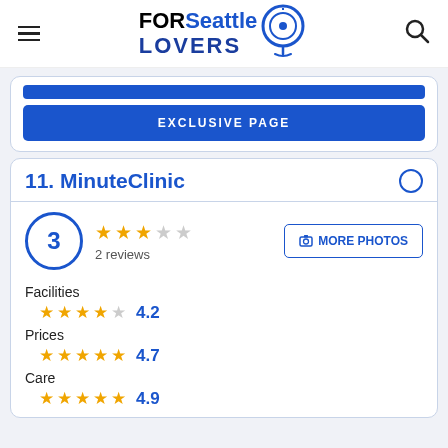FORSeattle LOVERS
EXCLUSIVE PAGE
11. MinuteClinic
3 — 2 reviews
Facilities 4.2
Prices 4.7
Care 4.9